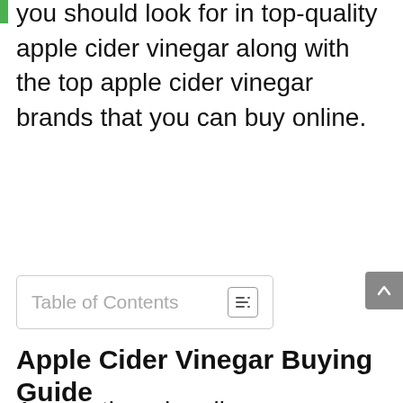you should look for in top-quality apple cider vinegar along with the top apple cider vinegar brands that you can buy online.
Table of Contents
Apple Cider Vinegar Buying Guide
As mentioned earlier, you cannot simply buy any apple cider vinegar from the market. You need to consider several factors before you consider purchasing one for yourself.